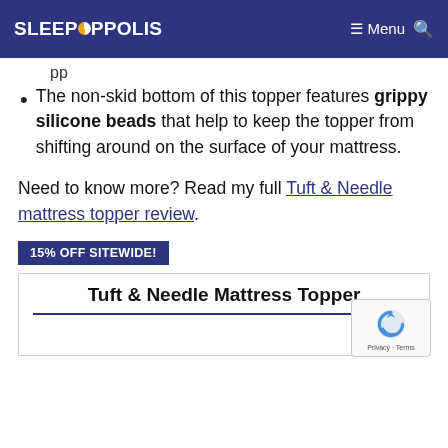SLEEPOPOLIS  ≡ Menu 🔍
pp
The non-skid bottom of this topper features grippy silicone beads that help to keep the topper from shifting around on the surface of your mattress.
Need to know more? Read my full Tuft & Needle mattress topper review.
15% OFF SITEWIDE!
Tuft & Needle Mattress Topper